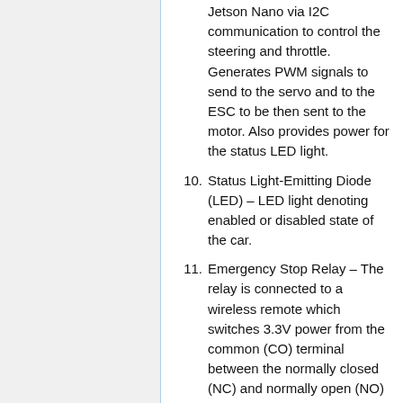Jetson Nano via I2C communication to control the steering and throttle. Generates PWM signals to send to the servo and to the ESC to be then sent to the motor. Also provides power for the status LED light.
10. Status Light-Emitting Diode (LED) – LED light denoting enabled or disabled state of the car.
11. Emergency Stop Relay – The relay is connected to a wireless remote which switches 3.3V power from the common (CO) terminal between the normally closed (NC) and normally open (NO) terminals. The disable pin (OE) of the PWM board is connected to the NC terminal, stopping generation of PWM